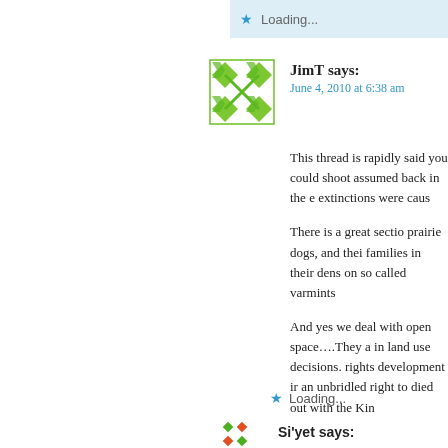Loading...
JimT says:
June 4, 2010 at 6:38 am
[Figure (illustration): Green pixel/geometric avatar for user JimT]
This thread is rapidly said you could shoot assumed back in the e extinctions were caus
There is a great sectio prairie dogs, and thei families in their dens on so called varmints
And yes we deal with open space….They a in land use decisions. rights development ir an unbridled right to died out with the Kin
Loading...
Si'yet says:
[Figure (illustration): Green geometric avatar for user Si'yet]